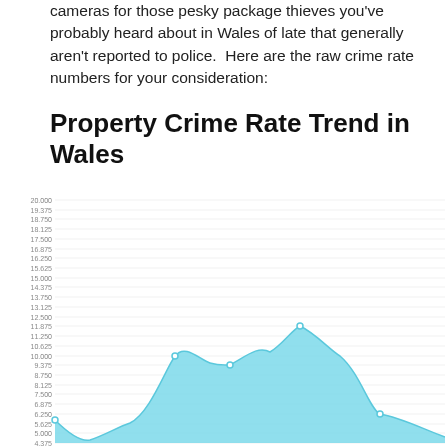cameras for those pesky package thieves you've probably heard about in Wales of late that generally aren't reported to police.  Here are the raw crime rate numbers for your consideration:
Property Crime Rate Trend in Wales
[Figure (continuous-plot): Area chart showing Property Crime Rate Trend in Wales. Y-axis ranges from approximately 4.375 to 20.000 with labeled gridlines at intervals of 0.625. The area is filled with light blue. The curve starts around 5.825, dips, then rises to about 10.000, dips slightly to about 9.375, rises to a peak of about 11.875, then descends to about 6.250, and continues off screen downward toward 4.750.]